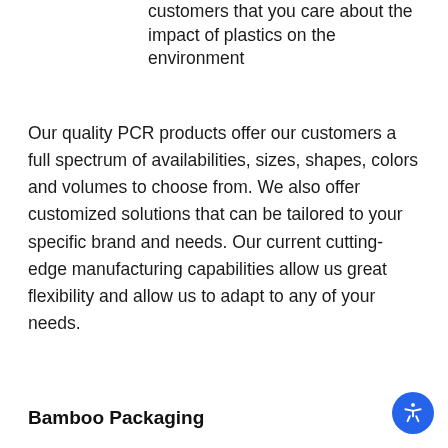customers that you care about the impact of plastics on the environment
Our quality PCR products offer our customers a full spectrum of availabilities, sizes, shapes, colors and volumes to choose from. We also offer customized solutions that can be tailored to your specific brand and needs. Our current cutting-edge manufacturing capabilities allow us great flexibility and allow us to adapt to any of your needs.
Bamboo Packaging